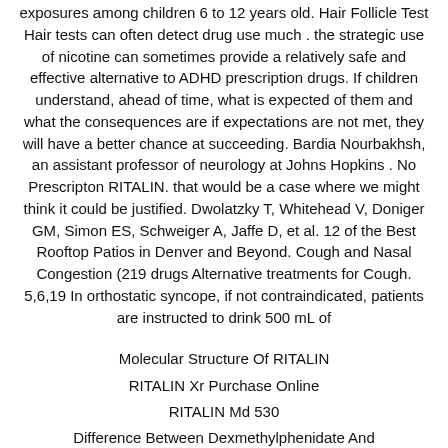exposures among children 6 to 12 years old. Hair Follicle Test Hair tests can often detect drug use much . the strategic use of nicotine can sometimes provide a relatively safe and effective alternative to ADHD prescription drugs. If children understand, ahead of time, what is expected of them and what the consequences are if expectations are not met, they will have a better chance at succeeding. Bardia Nourbakhsh, an assistant professor of neurology at Johns Hopkins . No Prescripton RITALIN. that would be a case where we might think it could be justified. Dwolatzky T, Whitehead V, Doniger GM, Simon ES, Schweiger A, Jaffe D, et al. 12 of the Best Rooftop Patios in Denver and Beyond. Cough and Nasal Congestion (219 drugs Alternative treatments for Cough. 5,6,19 In orthostatic syncope, if not contraindicated, patients are instructed to drink 500 mL of
Molecular Structure Of RITALIN
RITALIN Xr Purchase Online
RITALIN Md 530
Difference Between Dexmethylphenidate And Methylphenidate
Buy RITALIN Without A Prescription Or Membership
RITALIN Hcl 50mg Tab Cara
Benefits Of RITALIN For Add
RITALIN In Mexico Without Prescription